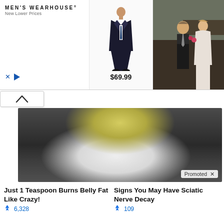[Figure (screenshot): Men's Wearhouse advertisement banner showing logo, suit at $69.99, and wedding couple photo]
[Figure (screenshot): Scroll up chevron widget]
[Figure (photo): Promoted content banner showing a bowl with white foam and yellow substance, with 'Promoted X' badge]
[Figure (photo): Ad image collage: muscular person and spice on spoon - Just 1 Teaspoon Burns Belly Fat Like Crazy!]
Just 1 Teaspoon Burns Belly Fat Like Crazy!
6,328
[Figure (illustration): Medical diagram showing body silhouettes with red pain areas highlighted - Signs You May Have Sciatic Nerve Decay]
Signs You May Have Sciatic Nerve Decay
109